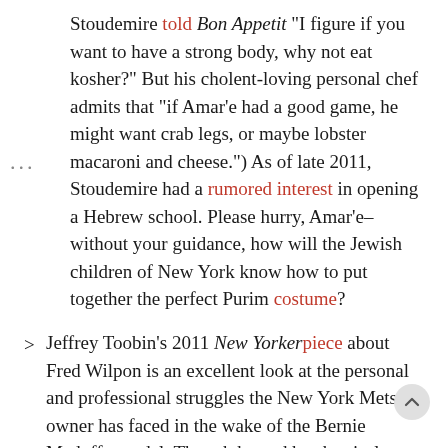Stoudemire told Bon Appetit "I figure if you want to have a strong body, why not eat kosher?" But his cholent-loving personal chef admits that "if Amar'e had a good game, he might want crab legs, or maybe lobster macaroni and cheese.") As of late 2011, Stoudemire had a rumored interest in opening a Hebrew school. Please hurry, Amar'e–without your guidance, how will the Jewish children of New York know how to put together the perfect Purim costume?
Jeffrey Toobin's 2011 New Yorker piece about Fred Wilpon is an excellent look at the personal and professional struggles the New York Mets owner has faced in the wake of the Bernie Madoff scandal. Though he and brother-in-law Saul Katz face a lawsuit that could find them liable for as much as $386 million, Wilpon is still holding o...